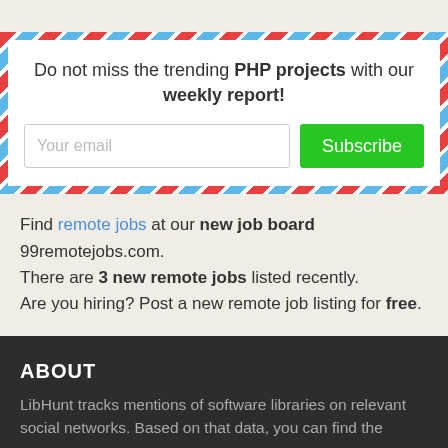Do not miss the trending PHP projects with our weekly report!
Find remote jobs at our new job board 99remotejobs.com. There are 3 new remote jobs listed recently. Are you hiring? Post a new remote job listing for free.
ABOUT
LibHunt tracks mentions of software libraries on relevant social networks. Based on that data, you can find the